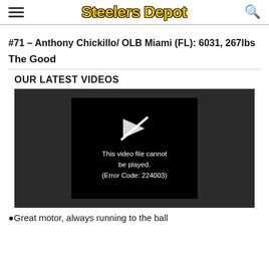Steelers Depot
#71 – Anthony Chickillo/ OLB Miami (FL): 6031, 267lbs
The Good
OUR LATEST VIDEOS
[Figure (screenshot): Video player showing error message: This video file cannot be played. (Error Code: 224003)]
Great motor, always running to the ball